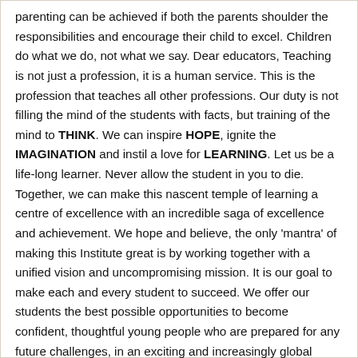parenting can be achieved if both the parents shoulder the responsibilities and encourage their child to excel. Children do what we do, not what we say. Dear educators, Teaching is not just a profession, it is a human service. This is the profession that teaches all other professions. Our duty is not filling the mind of the students with facts, but training of the mind to THINK. We can inspire HOPE, ignite the IMAGINATION and instil a love for LEARNING. Let us be a life-long learner. Never allow the student in you to die. Together, we can make this nascent temple of learning a centre of excellence with an incredible saga of excellence and achievement. We hope and believe, the only 'mantra' of making this Institute great is by working together with a unified vision and uncompromising mission. It is our goal to make each and every student to succeed. We offer our students the best possible opportunities to become confident, thoughtful young people who are prepared for any future challenges, in an exciting and increasingly global world. At BGS NPS, we are very proud of our caring,